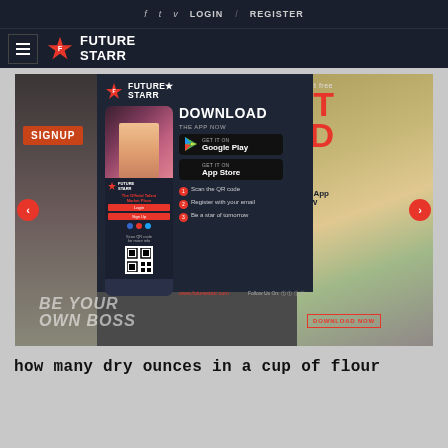f  t  v  LOGIN  /  REGISTER
[Figure (logo): FutureStarr logo with hamburger menu icon and star logo mark on dark navy background]
[Figure (screenshot): Website slider showing fitness woman with SIGNUP button, BE YOUR OWN BOSS text, DOWNLOAD NOW button, FutureStarr app download popup overlay with phone mockup, Google Play and App Store buttons, QR code, and steps. Right side shows soccer player and woman with phone.]
how many dry ounces in a cup of flour